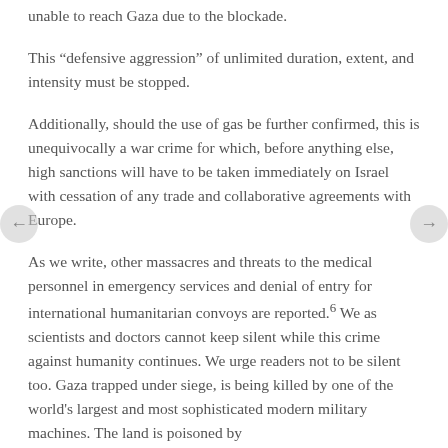unable to reach Gaza due to the blockade.
This “defensive aggression” of unlimited duration, extent, and intensity must be stopped.
Additionally, should the use of gas be further confirmed, this is unequivocally a war crime for which, before anything else, high sanctions will have to be taken immediately on Israel with cessation of any trade and collaborative agreements with Europe.
As we write, other massacres and threats to the medical personnel in emergency services and denial of entry for international humanitarian convoys are reported.6 We as scientists and doctors cannot keep silent while this crime against humanity continues. We urge readers not to be silent too. Gaza trapped under siege, is being killed by one of the world's largest and most sophisticated modern military machines. The land is poisoned by